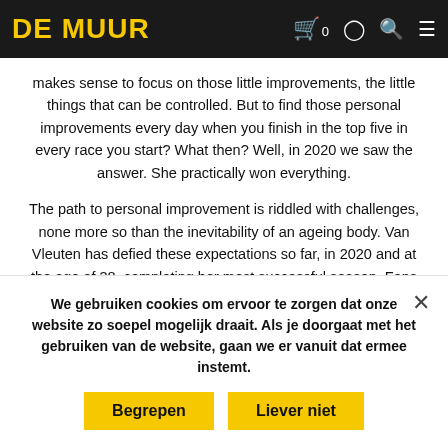DE MUUR
makes sense to focus on those little improvements, the little things that can be controlled. But to find those personal improvements every day when you finish in the top five in every race you start? What then? Well, in 2020 we saw the answer. She practically won everything.
The path to personal improvement is riddled with challenges, none more so than the inevitability of an ageing body. Van Vleuten has defied these expectations so far, in 2020 and at the age of 38, completing her most successful season. Fans salivate over the plummeting ages of champions in the men's peloton – Evenepoel, Hirschi, Pogačar – boys who celebrated the turn of the millennium in nappies or in the womb. In the women's scene, conversely, the best riders of the moment are getting older. Eight of the top ten at Strade Bianche were over 30. By the time Van Vleuten completes her current contract with Movistar...
Yet in racing, as in life, the mind is equally as powerful as ... calling her final year of University ... playing her beloved football because of a ... ically to counteract ... called the strongest ...
We gebruiken cookies om ervoor te zorgen dat onze website zo soepel mogelijk draait. Als je doorgaat met het gebruiken van de website, gaan we er vanuit dat ermee instemt.
Begrepen
Liever niet